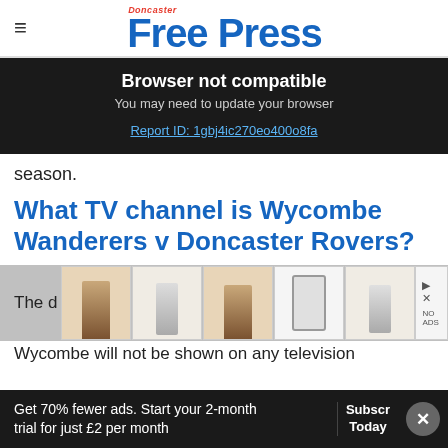Doncaster Free Press
Browser not compatible
You may need to update your browser
Report ID: 1gbj4ic270eo400o8fa
season.
What TV channel is Wycombe Wanderers v Doncaster Rovers?
[Figure (other): Advertisement strip showing phone case products]
Wycombe will not be shown on any television
Get 70% fewer ads. Start your 2-month trial for just £2 per month
Subscribe Today